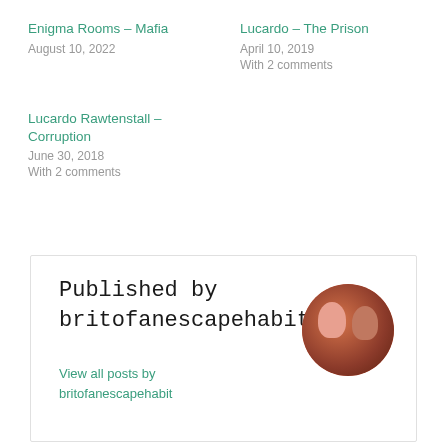Enigma Rooms – Mafia
August 10, 2022
Lucardo – The Prison
April 10, 2019
With 2 comments
Lucardo Rawtenstall – Corruption
June 30, 2018
With 2 comments
Published by britofanescapehabit
View all posts by britofanescapehabit